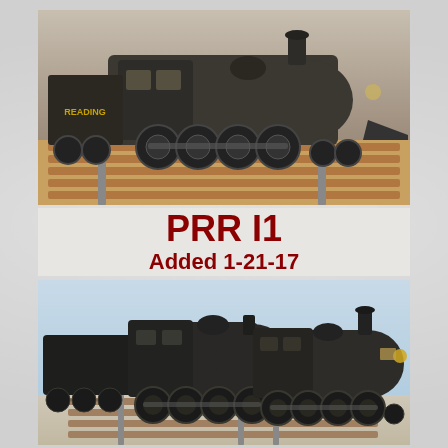[Figure (photo): Model railroad steam locomotive labeled READING on a model track layout, dark greenish-black color, viewed from the side-front angle. Double track with brown ties visible in foreground.]
PRR I1
Added 1-21-17
[Figure (photo): Two dark model railroad steam locomotives (PRR I1 class) on parallel tracks, viewed from a three-quarter front angle. Light blue background. Model train layout with gray/brown trackwork visible.]